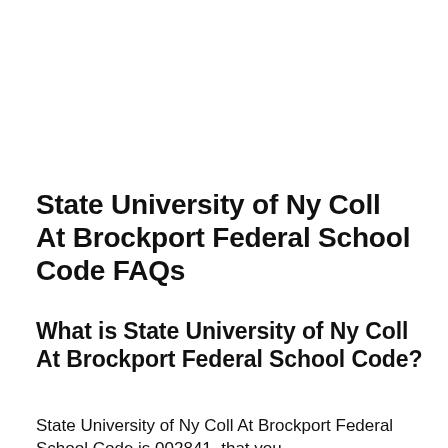State University of Ny Coll At Brockport Federal School Code FAQs
What is State University of Ny Coll At Brockport Federal School Code?
State University of Ny Coll At Brockport Federal School Code is 002841, that you...